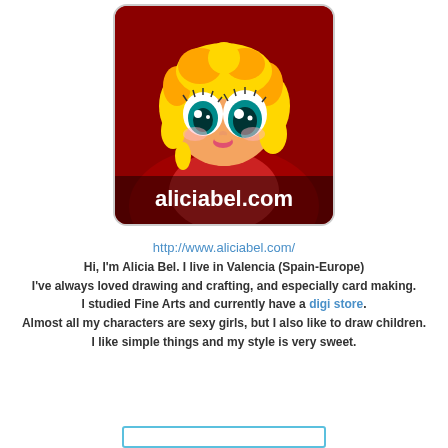[Figure (illustration): Cartoon chibi-style girl with big teal eyes, curly golden-yellow hair, peach skin, wearing a red dress/cape. Text 'aliciabel.com' overlaid at the bottom of the image. Rounded square format.]
http://www.aliciabel.com/
Hi, I'm Alicia Bel. I live in Valencia (Spain-Europe)
I've always loved drawing and crafting, and especially card making.
I studied Fine Arts and currently have a digi store.
Almost all my characters are sexy girls, but I also like to draw children.
I like simple things and my style is very sweet.